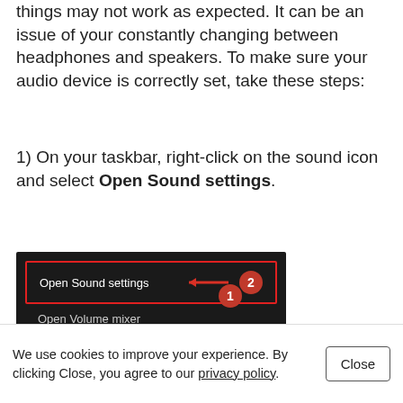things may not work as expected. It can be an issue of your constantly changing between headphones and speakers. To make sure your audio device is correctly set, take these steps:
1) On your taskbar, right-click on the sound icon and select Open Sound settings.
[Figure (screenshot): A Windows context menu screenshot on a dark background showing three options: 'Open Sound settings' (highlighted with a red border and a red arrow pointing to it with badge number 2), 'Open Volume mixer', and 'Spatial sound (Off)' with a chevron. A red badge with number 1 is partially visible at the bottom.]
We use cookies to improve your experience. By clicking Close, you agree to our privacy policy.